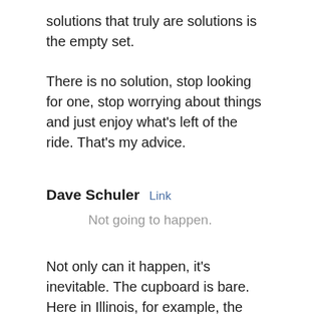solutions that truly are solutions is the empty set.
There is no solution, stop looking for one, stop worrying about things and just enjoy what’s left of the ride. That’s my advice.
Dave Schuler   Link
Not going to happen.
Not only can it happen, it’s inevitable. The cupboard is bare. Here in Illinois, for example, the Democratic governor and the Democratic mayor of Chicago are both raking back pay increases for public employees that were previously agreed on. Do you think Illinois Republicans would give them a sweeter deal? The